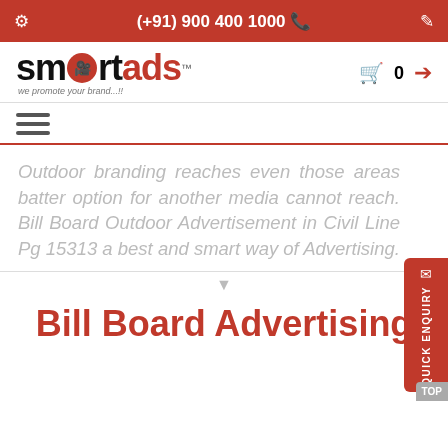(+91) 900 400 1000
[Figure (logo): SmartAds logo with tagline 'we promote your brand...!!']
Outdoor branding reaches even those areas batter option for another media cannot reach. Bill Board Outdoor Advertisement in Civil Line Pg 15313 a best and smart way of Advertising.
Bill Board Advertising